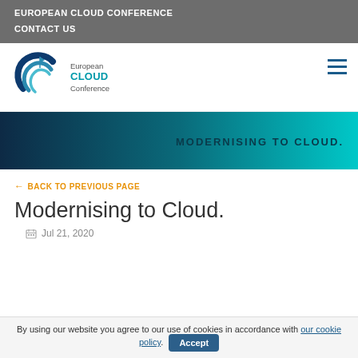EUROPEAN CLOUD CONFERENCE
CONTACT US
[Figure (logo): European Cloud Conference logo with swirl graphic and text]
[Figure (illustration): Gradient banner from dark teal to cyan with text MODERNISING TO CLOUD.]
← BACK TO PREVIOUS PAGE
Modernising to Cloud.
📅 Jul 21, 2020
By using our website you agree to our use of cookies in accordance with our cookie policy.